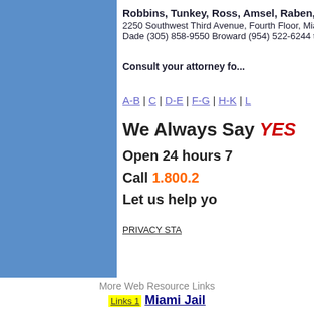[Figure (other): Blue rectangular sidebar on the left side of the page]
Robbins, Tunkey, Ross, Amsel, Raben, Waxman, &...
2250 Southwest Third Avenue, Fourth Floor, Miami, ... Dade (305) 858-9550 Broward (954) 522-6244 toll (8...
Consult your attorney fo...
A-B | C | D-E | F-G | H-K | L...
We Always Say YES...
Open 24 hours 7...
Call 1.800.2...
Let us help yo...
PRIVACY STA...
More Web Resource Links
Links 1  Miami Jail